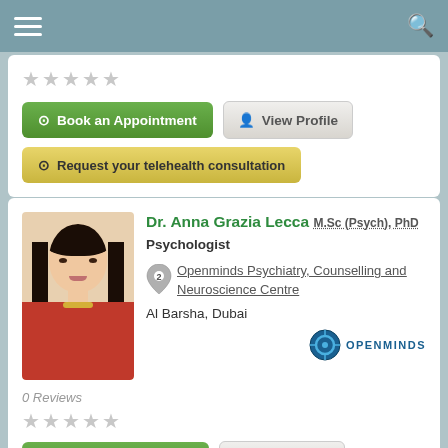[Figure (screenshot): Mobile app navigation bar with hamburger menu icon on left and search icon on right, teal/blue-gray background]
★★★★★ (stars, gray)
⊙ Book an Appointment
👤 View Profile
⊙ Request your telehealth consultation
Dr. Anna Grazia Lecca M.Sc (Psych), PhD
Psychologist
Openminds Psychiatry, Counselling and Neuroscience Centre
Al Barsha, Dubai
[Figure (logo): Openminds logo with circular icon and text OPENMINDS]
0 Reviews
★★★★★ (stars, gray)
⊙ Book an Appointment
👤 View Profile